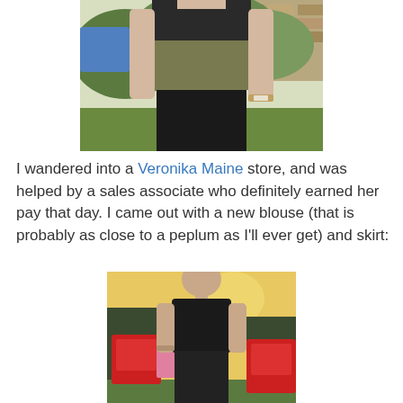[Figure (photo): A person wearing a striped olive and black top with a black skirt, standing outdoors with a stone wall and greenery in the background. The person is wearing a watch.]
I wandered into a Veronika Maine store, and was helped by a sales associate who definitely earned her pay that day. I came out with a new blouse (that is probably as close to a peplum as I'll ever get) and skirt:
[Figure (photo): A person wearing a black blouse and black skirt, standing outdoors at sunset with red plastic chairs and colourful outdoor items visible in the background.]